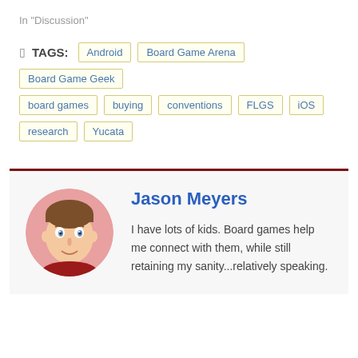In "Discussion"
TAGS: Android  Board Game Arena  Board Game Geek  board games  buying  conventions  FLGS  iOS  research  Yucata
[Figure (illustration): Cartoon avatar of Jason Meyers — a stylized illustrated face of a man with brown hair, on a round portrait with a pink/red background.]
Jason Meyers
I have lots of kids. Board games help me connect with them, while still retaining my sanity...relatively speaking.